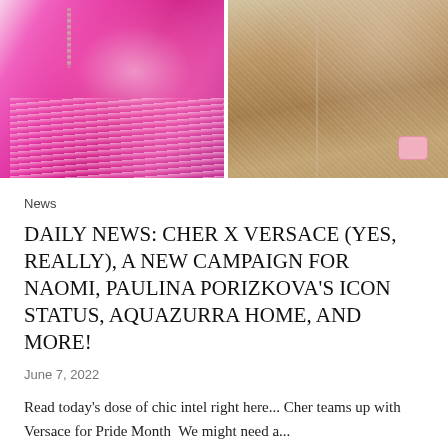[Figure (photo): Two fashion photos side by side: left shows a woman in a bright pink feathered outfit with long blonde wavy hair; right shows a woman in a sparkly champagne/gold sequined skirt holding a small pink bag.]
News
DAILY NEWS: CHER X VERSACE (YES, REALLY), A NEW CAMPAIGN FOR NAOMI, PAULINA PORIZKOVA'S ICON STATUS, AQUAZURRA HOME, AND MORE!
June 7, 2022
Read today's dose of chic intel right here... Cher teams up with Versace for Pride Month  We might need a...